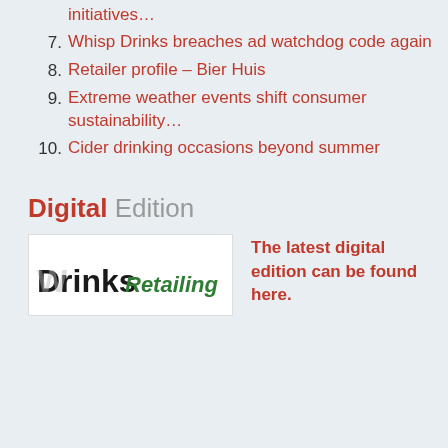initiatives...
7. Whisp Drinks breaches ad watchdog code again
8. Retailer profile – Bier Huis
9. Extreme weather events shift consumer sustainability...
10. Cider drinking occasions beyond summer
Digital Edition
[Figure (logo): Drinks Retailing magazine logo — partial view showing bold 'Drinks' in black and 'Retailing' in green]
The latest digital edition can be found here.